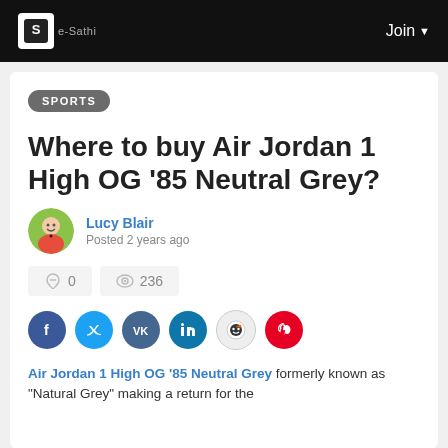e-Sathi | Join
SPORTS
Where to buy Air Jordan 1 High OG '85 Neutral Grey?
Lucy Blair
Posted 2 years ago
0  236
[Figure (other): Social share icons: Facebook, Twitter, VK, LinkedIn, Reddit, Pinterest]
Air Jordan 1 High OG '85 Neutral Grey formerly known as "Natural Grey" making a return for the